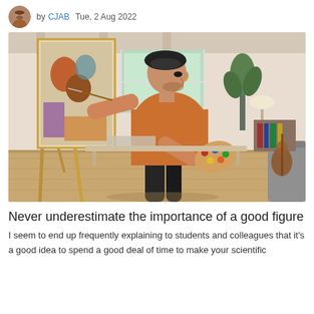by CJAB   Tue, 2 Aug 2022
[Figure (photo): A young artist wearing an orange t-shirt and black beret, painting on a canvas mounted on a wooden easel in a bright studio/living space. He holds a paint-covered palette in one hand and a brush in the other, leaning close to the canvas.]
Never underestimate the importance of a good figure
I seem to end up frequently explaining to students and colleagues that it's a good idea to spend a good deal of time to make your scientific